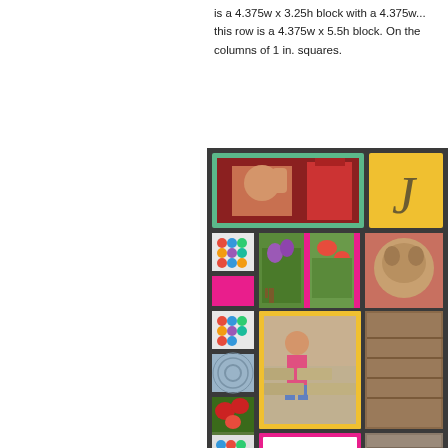is a 4.375w x 3.25h block with a 4.375w... this row is a 4.375w x 5.5h block. On the columns of 1 in. squares.
[Figure (photo): A scrapbook-style photo collage page with dark gray background, featuring multiple photos arranged in a grid including a child waving from a red ride, garden flowers, a girl sitting on a stone wall, small decorative fabric squares, and a 'Busch Gardens 2013' label.]